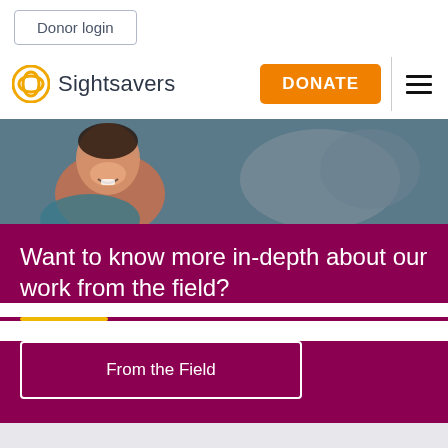Donor login
[Figure (logo): Sightsavers logo with orange circular icon and text 'Sightsavers']
DONATE
[Figure (photo): Photograph of a smiling girl and people in background]
Want to know more in-depth about our work from the field?
From the Field